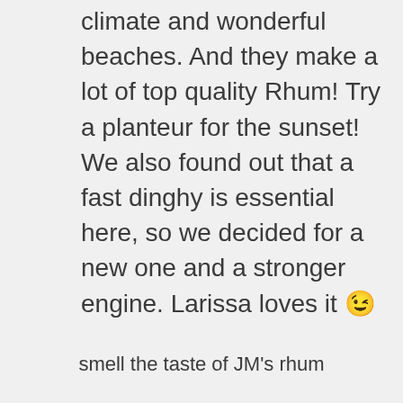climate and wonderful beaches. And they make a lot of top quality Rhum! Try a planteur for the sunset! We also found out that a fast dinghy is essential here, so we decided for a new one and a stronger engine. Larissa loves it 😉
smell the taste of JM's rhum